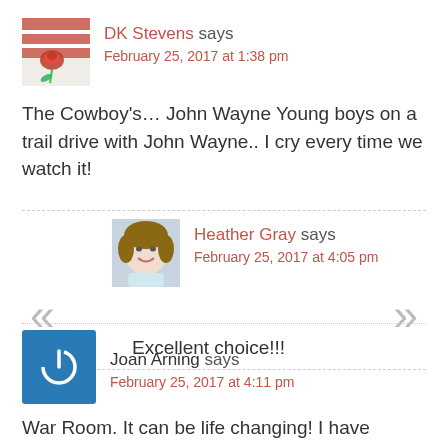DK Stevens says
February 25, 2017 at 1:38 pm

The Cowboy's… John Wayne Young boys on a trail drive with John Wayne.. I cry every time we watch it!
Heather Gray says
February 25, 2017 at 4:05 pm

Excellent choice!!!
Joan Arning says
February 25, 2017 at 4:11 pm

War Room. It can be life changing! I have changed my